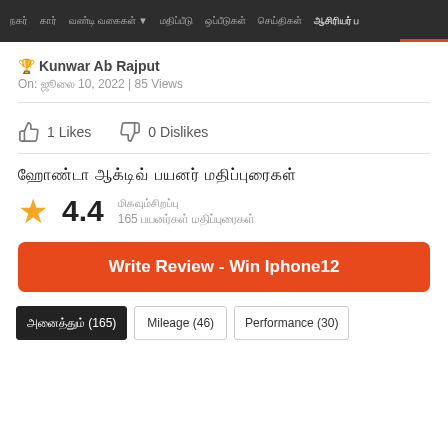நகர் | கார் | வண்டி வகைகள் ▼ | மதிப்பீடு | ஒப்பீடுகள் | செய்திகள் | ஆசிரியர் ப
🏆 Kunwar Ab Rajput
On: ஜூலை 10, 2022 | 85 Views
👍 1 Likes   👎 0 Dislikes
ஹோண்டா ஆக்டிவ் பயனர் மதிப்புரைகள்
★ 4.4  மிகவும்சிறப்பு  165 பயனர்கள் மதிப்புரைகள்
Write Review - Win Iphone12
அனைத்தும் (165)   Mileage (46)   Performance (30)